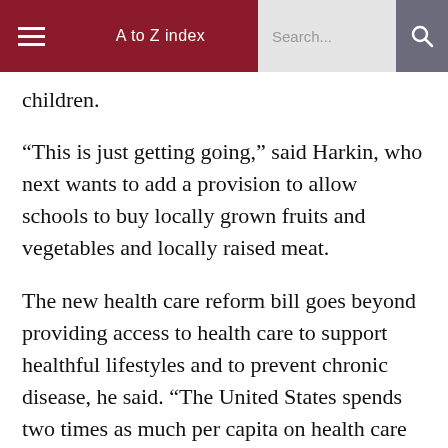A to Z index  Search...
children.
“This is just getting going,” said Harkin, who next wants to add a provision to allow schools to buy locally grown fruits and vegetables and locally raised meat.
The new health care reform bill goes beyond providing access to health care to support healthful lifestyles and to prevent chronic disease, he said. “The United States spends two times as much per capita on health care than European countries and yet we’re two times as sick with chronic diseases,” Harkin said. “The problem is we have a disease management system that waits...